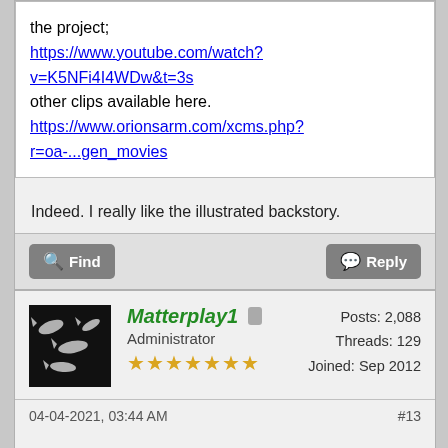the project;
https://www.youtube.com/watch?v=K5NFi4I4WDw&t=3s
other clips available here.
https://www.orionsarm.com/xcms.php?r=oa-...gen_movies
Indeed. I really like the illustrated backstory.
Find
Reply
Matterplay1
Administrator
Posts: 2,088
Threads: 129
Joined: Sep 2012
04-04-2021, 03:44 AM
#13
Welcome to the group!

Agreed, we'd do well to get a few Youtube videos out there. Due to the way Youtube tracks and directs viewers (which has its downside in society generally, but